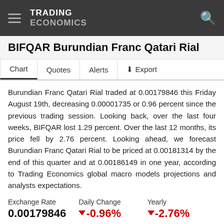TRADING ECONOMICS
BIFQAR Burundian Franc Qatari Rial
Chart  Quotes  Alerts  Export
Burundian Franc Qatari Rial traded at 0.00179846 this Friday August 19th, decreasing 0.00001735 or 0.96 percent since the previous trading session. Looking back, over the last four weeks, BIFQAR lost 1.29 percent. Over the last 12 months, its price fell by 2.76 percent. Looking ahead, we forecast Burundian Franc Qatari Rial to be priced at 0.00181314 by the end of this quarter and at 0.00186149 in one year, according to Trading Economics global macro models projections and analysts expectations.
| Exchange Rate | Daily Change | Yearly |
| --- | --- | --- |
| 0.00179846 | ▼ -0.96% | ▼ -2.76% |